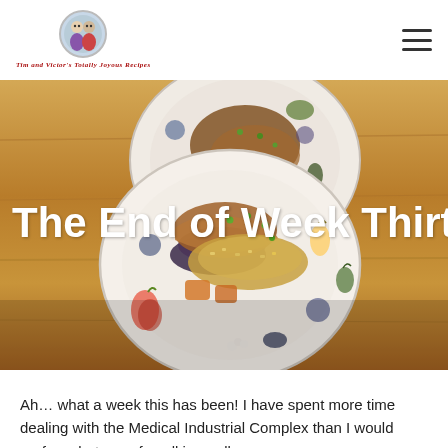Tim and Victor's Totally Joyous Recipes
[Figure (photo): Two decorative plates with fruit motifs containing a meal of meat and fried rice with vegetables on a wooden table surface]
The End of Week Thirteen
Ah… what a week this has been! I have spent more time dealing with the Medical Industrial Complex than I would prefer… but… so far, all is swell.